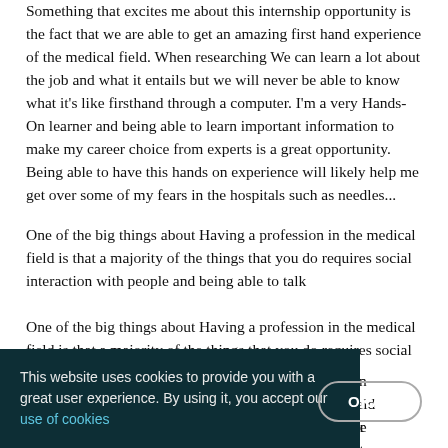Something that excites me about this internship opportunity is the fact that we are able to get an amazing first hand experience of the medical field. When researching We can learn a lot about the job and what it entails but we will never be able to know what it's like firsthand through a computer. I'm a very Hands-On learner and being able to learn important information to make my career choice from experts is a great opportunity.  Being able to have this hands on experience will likely help me get over some of my fears in the hospitals such as needles...
One of the big things about Having a profession in the medical field is that a majority of the things that you do requires social interaction with people and being able to talk ...oing person ...medical field ...e one of the ...ple no matter ...nurses will have to tell people news that they don't want to hear or
This website uses cookies to provide you with a great user experience. By using it, you accept our use of cookies